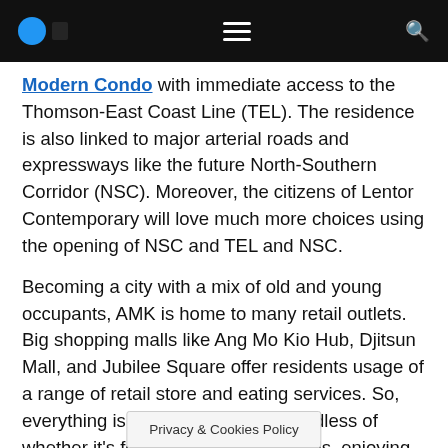Navigation bar with logo, menu icon, and search icon
Modern Condo with immediate access to the Thomson-East Coast Line (TEL). The residence is also linked to major arterial roads and expressways like the future North-Southern Corridor (NSC). Moreover, the citizens of Lentor Contemporary will love much more choices using the opening of NSC and TEL and NSC.
Becoming a city with a mix of old and young occupants, AMK is home to many retail outlets. Big shopping malls like Ang Mo Kio Hub, Djitsun Mall, and Jubilee Square offer residents usage of a range of retail store and eating services. So, everything is right at the area, regardless of whether it’s fetching household goods, enjoying delicious [food, or style].
Privacy & Cookies Policy